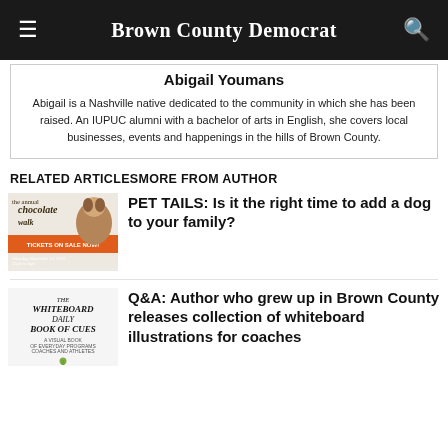Brown County Democrat
Abigail Youmans
Abigail is a Nashville native dedicated to the community in which she has been raised. An IUPUC alumni with a bachelor of arts in English, she covers local businesses, events and happenings in the hills of Brown County.
RELATED ARTICLESMORE FROM AUTHOR
[Figure (photo): Thumbnail image for chocolate walk article, showing a dog and chocolate walk event advertisement]
PET TAILS: Is it the right time to add a dog to your family?
[Figure (photo): Thumbnail image for whiteboard book article, showing 'The Whiteboard Daily Book of Cues' cover]
Q&A: Author who grew up in Brown County releases collection of whiteboard illustrations for coaches